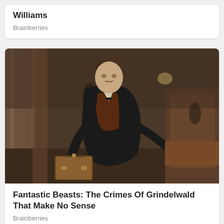Williams
Brainberries
[Figure (photo): A young man in period costume (dark coat, waistcoat, bow tie) carrying a leather suitcase, running through an ornate marble hall with columns — scene from Fantastic Beasts movie]
Fantastic Beasts: The Crimes Of Grindelwald That Make No Sense
Brainberries
[Figure (photo): Partial view of a TV show scene with a person visible and a sign reading ROOSEV HOT in the background — partially cut off at bottom]